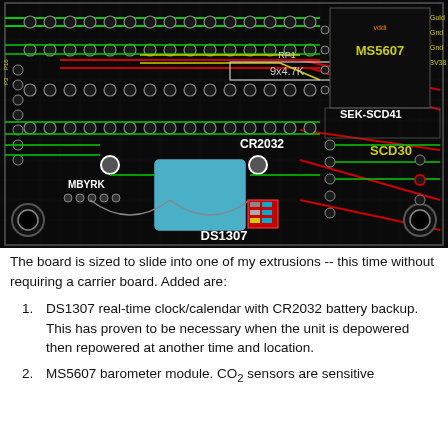[Figure (circuit-diagram): PCB layout showing circuit board with components labeled: MS5607, SEK-SCD41, SCD30, CR2032, DS1307, MBYRK, RP1 (9x4.7K resistor network), and various traces in green, red, yellow on black background with mounting holes at corners.]
The board is sized to slide into one of my extrusions -- this time without requiring a carrier board. Added are:
DS1307 real-time clock/calendar with CR2032 battery backup. This has proven to be necessary when the unit is depowered then repowered at another time and location.
MS5607 barometer module. CO₂ sensors are sensitive